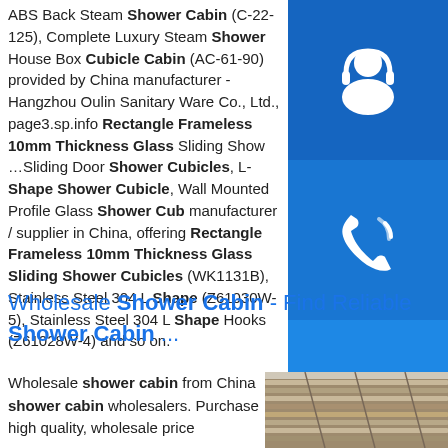ABS Back Steam Shower Cabin (C-22-125), Complete Luxury Steam Shower House Box Cubicle Cabin (AC-61-90) provided by China manufacturer - Hangzhou Oulin Sanitary Ware Co., Ltd., page3.sp.info Rectangle Frameless 10mm Thickness Glass Sliding Showe ...Sliding Door Shower Cubicles, L-Shape Shower Cubicle, Wall Mounted Profile Glass Shower Cub manufacturer / supplier in China, offering Rectangle Frameless 10mm Thickness Glass Sliding Shower Cubicles (WK1131B), Stainless Steel 304 L Shape (Z61030W-5), Stainless Steel 304 L Shape Hooks (Z61028W-4) and so on.
[Figure (illustration): Blue square with white headset/support icon]
[Figure (illustration): Blue square with white phone/call icon]
[Figure (illustration): Blue square with white Skype icon]
Wholesale Shower Cabin - Find Reliable Shower Cabin ...
Wholesale shower cabin from China shower cabin wholesalers. Purchase high quality, wholesale price
[Figure (photo): Photo of stacked metal profiles or bars in a warehouse]